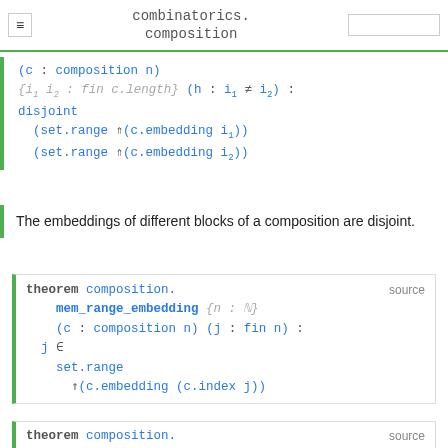combinatorics. composition
mathlib
(c : composition n)
{i₁ i₂ : fin c.length} (h : i₁ ≠ i₂) :
disjoint
  (set.range ⇑(c.embedding i₁))
  (set.range ⇑(c.embedding i₂))
The embeddings of different blocks of a composition are disjoint.
theorem composition. mem_range_embedding {n : ℕ}
(c : composition n) (j : fin n) :
j ∈
  set.range
    ⇑(c.embedding (c.index j))
theorem composition.  source